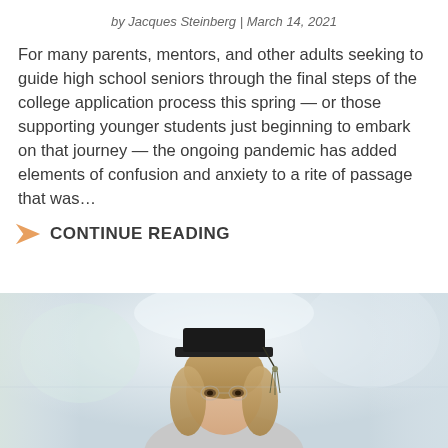by Jacques Steinberg | March 14, 2021
For many parents, mentors, and other adults seeking to guide high school seniors through the final steps of the college application process this spring — or those supporting younger students just beginning to embark on that journey — the ongoing pandemic has added elements of confusion and anxiety to a rite of passage that was…
CONTINUE READING
[Figure (photo): A young woman wearing a graduation cap, photographed against a light blurred background. The image is partially cropped showing her face and graduation cap.]